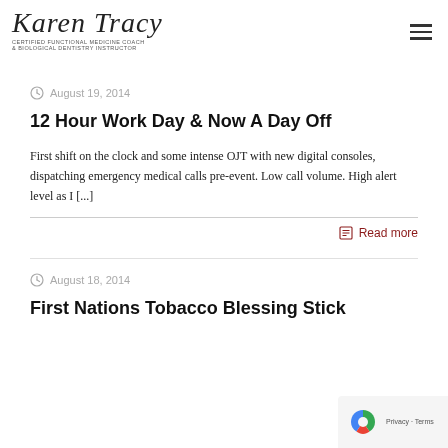Karen Tracy | Certified Functional Medicine Coach & Biological Dentistry Instructor
August 19, 2014
12 Hour Work Day & Now A Day Off
First shift on the clock and some intense OJT with new digital consoles, dispatching emergency medical calls pre-event. Low call volume. High alert level as I [...]
Read more
August 18, 2014
First Nations Tobacco Blessing Stick